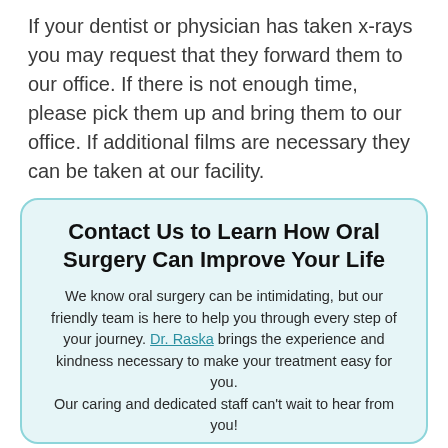If your dentist or physician has taken x-rays you may request that they forward them to our office. If there is not enough time, please pick them up and bring them to our office. If additional films are necessary they can be taken at our facility.
Contact Us to Learn How Oral Surgery Can Improve Your Life
We know oral surgery can be intimidating, but our friendly team is here to help you through every step of your journey. Dr. Raska brings the experience and kindness necessary to make your treatment easy for you.
Our caring and dedicated staff can't wait to hear from you!
☎ 941-923-0033
🏠 Appointment